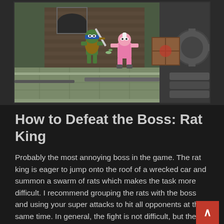[Figure (screenshot): Video game screenshot showing a Teenage Mutant Ninja Turtle character fighting a pink enemy boss in a side-scrolling beat-em-up game, set in an urban environment with brick walls, pipes, and a wooden crate.]
How to Defeat the Boss: Rat King
Probably the most annoying boss in the game. The rat king is eager to jump onto the roof of a wrecked car and summon a swarm of rats which makes the task more difficult. I recommend grouping the rats with the boss and using your super attacks to hit all opponents at the same time. In general, the fight is not difficult, but the enemy is annoying. You cannot damage the king while he is in the car, so you have to wait until he jumps down.
› Rat March: He jumps to the car and uses his flute to